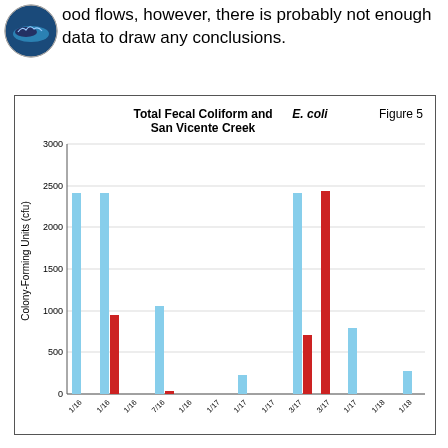ood flows, however, there is probably not enough data to draw any conclusions.
[Figure (grouped-bar-chart): Total Fecal Coliform and E. coli San Vicente Creek]